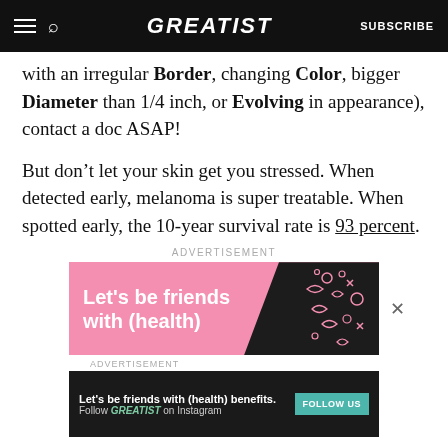GREATIST | SUBSCRIBE
with an irregular Border, changing Color, bigger Diameter than 1/4 inch, or Evolving in appearance), contact a doc ASAP!
But don't let your skin get you stressed. When detected early, melanoma is super treatable. When spotted early, the 10-year survival rate is 93 percent.
ADVERTISEMENT
[Figure (illustration): Pink and black advertisement banner reading 'Let's be friends with (health)' with doodle graphics on dark triangle background]
ADVERTISEMENT
[Figure (illustration): Dark advertisement banner: 'Let's be friends with (health) benefits. Follow GREATIST on Instagram' with FOLLOW US button]